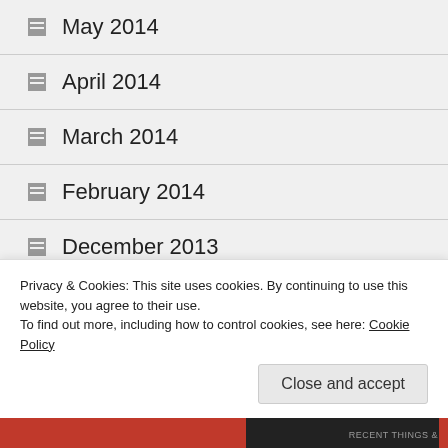May 2014
April 2014
March 2014
February 2014
December 2013
November 2013
October 2013
Advertisements
Privacy & Cookies: This site uses cookies. By continuing to use this website, you agree to their use.
To find out more, including how to control cookies, see here: Cookie Policy
Close and accept